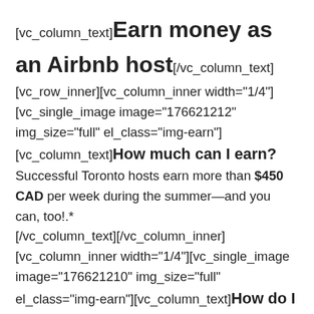[vc_column_text]Earn money as an Airbnb host[/vc_column_text][vc_row_inner][vc_column_inner width="1/4"][vc_single_image image="176621212" img_size="full" el_class="img-earn"][vc_column_text]How much can I earn?
Successful Toronto hosts earn more than $450 CAD per week during the summer—and you can, too!.*
[/vc_column_text][/vc_column_inner][vc_column_inner width="1/4"][vc_single_image image="176621210" img_size="full" el_class="img-earn"][vc_column_text]How do I create a listing?
You'll fill out a description, take and upload photos, and pick a price. Your listing helps guests get a sense of what your place is like.[/vc_column_text][/vc_column_inner][vc_column_inner width="1/4"][vc_single_image image="176621210" img_size="full" el_class="img-earn"]